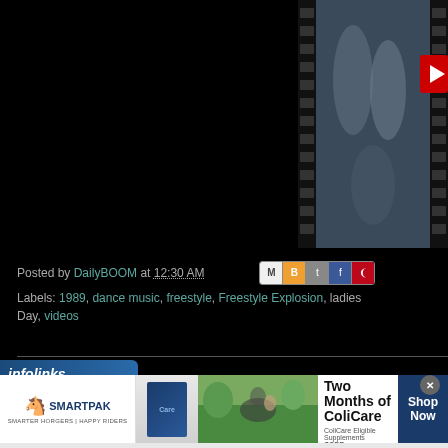[Figure (screenshot): Black video area on left, partial video thumbnail on right showing blurry dark figures with film strip border and red YouTube button]
Posted by DailyBOOM at 12:30 AM
Labels: 1989, dance music, freestyle, Freestyle Explosion, ladies Day, videos
[Figure (screenshot): Infolinks advertisement bar with SmartPak brand, horse supplement product, horse photo, 50% Off Two Months of ColiCare offer, CODE: COLICARE10, Shop Now button]